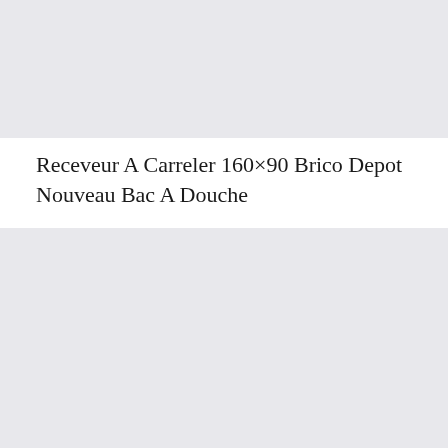[Figure (photo): Gray placeholder image at top of page]
Receveur A Carreler 160×90 Brico Depot Nouveau Bac A Douche
Brico Depot Receveur De Douche Inspirant Receveur A Carreler
[Figure (photo): Gray placeholder image at bottom of page]